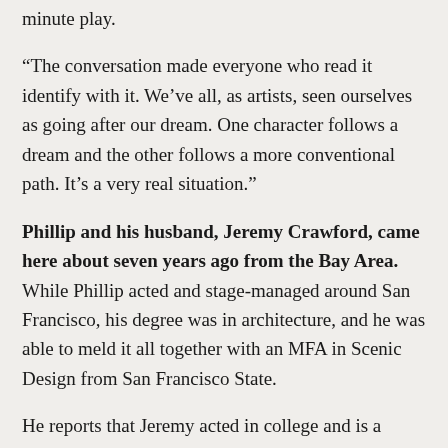minute play.
“The conversation made everyone who read it identify with it. We’ve all, as artists, seen ourselves as going after our dream. One character follows a dream and the other follows a more conventional path. It’s a very real situation.”
Phillip and his husband, Jeremy Crawford, came here about seven years ago from the Bay Area. While Phillip acted and stage-managed around San Francisco, his degree was in architecture, and he was able to meld it all together with an MFA in Scenic Design from San Francisco State.
He reports that Jeremy acted in college and is a theater lover, but no longer a practitioner. Jeremy works as a lead designer on Dungeons and Dragons products for Wizards of the Coast, the reason they made the move up here.